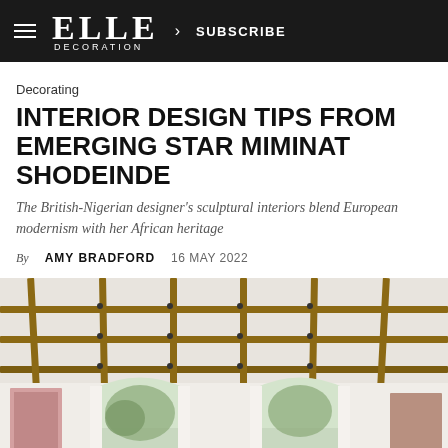ELLE DECORATION > SUBSCRIBE
Decorating
INTERIOR DESIGN TIPS FROM EMERGING STAR MIMINAT SHODEINDE
The British-Nigerian designer's sculptural interiors blend European modernism with her African heritage
By AMY BRADFORD  16 MAY 2022
[Figure (photo): Interior room photo showing a decorative wooden coffered ceiling with exposed beams forming a grid pattern, two arched floor-to-ceiling windows with white curtains, a glimpse of trees outside, and framed artwork on the walls.]